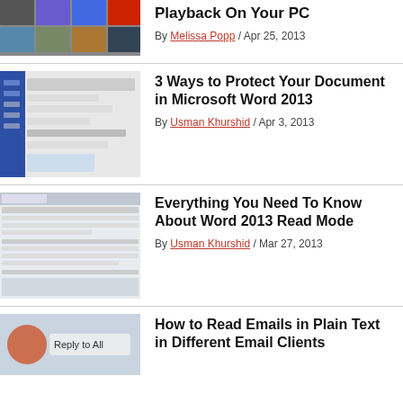[Figure (screenshot): Thumbnail of an article about PC playback — grid of media images]
Playback On Your PC
By Melissa Popp / Apr 25, 2013
[Figure (screenshot): Thumbnail of Microsoft Word 2013 Info pane / document protection dialog]
3 Ways to Protect Your Document in Microsoft Word 2013
By Usman Khurshid / Apr 3, 2013
[Figure (screenshot): Thumbnail of Word 2013 Read Mode interface]
Everything You Need To Know About Word 2013 Read Mode
By Usman Khurshid / Mar 27, 2013
[Figure (photo): Thumbnail photo of Reply to All button in email client]
How to Read Emails in Plain Text in Different Email Clients